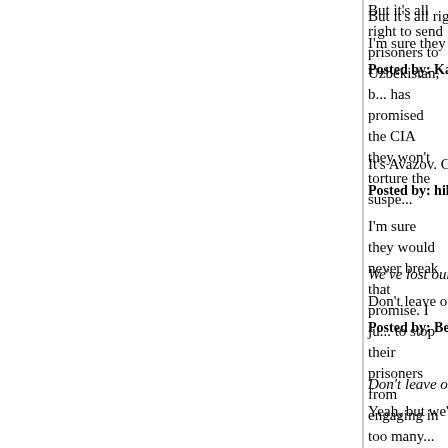But it's all right to send prisoners to Uzbekistan, b... has promised the CIA they won't torture the suspe...
I'm sure they would never break that promise. I ju... to stop their prisoners from engaging in too many...
Posted by: Katherine | May 01, 2005 at 02:54 PM
It's Avazov. Google image is a wondrous thing.
Posted by: hilzoy | May 01, 2005 at 02:58 PM
We've lost our soul to fear. And to a lesser extent,...
Don't leave out smug self-righteousness, arrogan... conscience.
Posted by: Bernard Yomtov | May 01, 2005 at 05:48 PM
Don't leave out smug self-righteousness, arrogan... conscience.
Yeah, but we've always had those. It is that dollop... transforms those qualities from kinda embarassin...